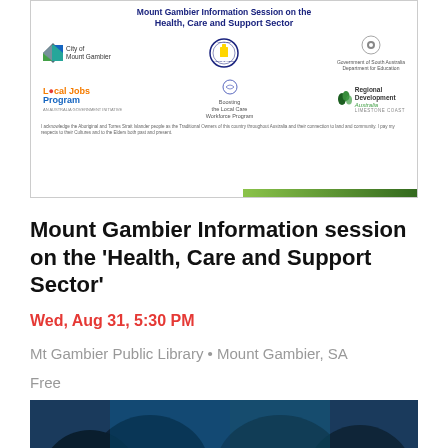[Figure (infographic): Event flyer for Mount Gambier Information Session on the Health, Care and Support Sector, showing multiple partner logos including City of Mount Gambier, Mount Gambier High School, Government of South Australia Department for Education, Local Jobs Program, Boosting the Local Care Workforce Program, and Regional Development Australia Limestone Coast.]
Mount Gambier Information session on the 'Health, Care and Support Sector'
Wed, Aug 31, 5:30 PM
Mt Gambier Public Library • Mount Gambier, SA
Free
[Figure (photo): Partial photo at the bottom of the page showing people, partially cropped.]